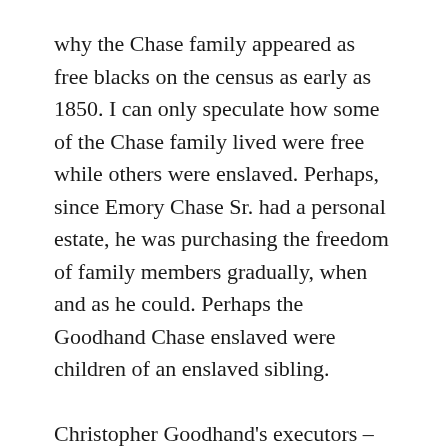why the Chase family appeared as free blacks on the census as early as 1850. I can only speculate how some of the Chase family lived were free while others were enslaved. Perhaps, since Emory Chase Sr. had a personal estate, he was purchasing the freedom of family members gradually, when and as he could. Perhaps the Goodhand Chase enslaved were children of an enslaved sibling.
Christopher Goodhand's executors – wife Susan Pope Goodhand b.1812 nee Sturgis, son Hiram Goodhand, and Col. Lemuel Roberts (a neighbor, farmer, friend, slaveholder, and co-delegate to several State and Congressional conventions) followed the will's instruction, as